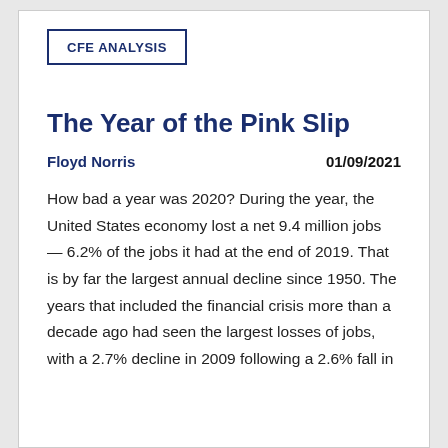CFE ANALYSIS
The Year of the Pink Slip
Floyd Norris    01/09/2021
How bad a year was 2020? During the year, the United States economy lost a net 9.4 million jobs — 6.2% of the jobs it had at the end of 2019. That is by far the largest annual decline since 1950. The years that included the financial crisis more than a decade ago had seen the largest losses of jobs, with a 2.7% decline in 2009 following a 2.6% fall in